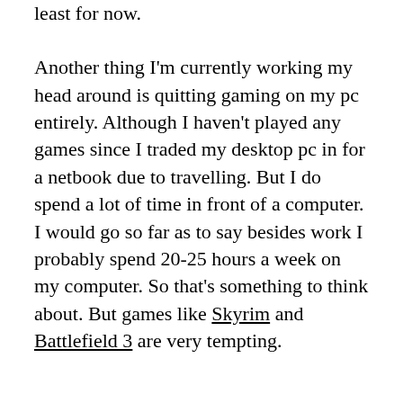least for now.
Another thing I'm currently working my head around is quitting gaming on my pc entirely. Although I haven't played any games since I traded my desktop pc in for a netbook due to travelling. But I do spend a lot of time in front of a computer. I would go so far as to say besides work I probably spend 20-25 hours a week on my computer. So that's something to think about. But games like Skyrim and Battlefield 3 are very tempting.
But lets get to the main subject. Passwords. Passwords? Yes passwords, those necessary jumble of characters consisting of letters either lower or higher case, numerals and sometimes